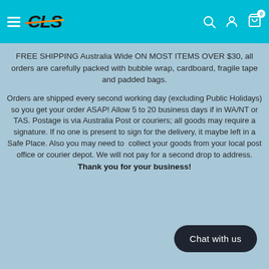CLS — navigation header with hamburger menu, logo, search, account, and cart icons
FREE SHIPPING Australia Wide ON MOST ITEMS OVER $30, all orders are carefully packed with bubble wrap, cardboard, fragile tape and padded bags.
Orders are shipped every second working day (excluding Public Holidays) so you get your order ASAP! Allow 5 to 20 business days if in WA/NT or TAS. Postage is via Australia Post or couriers; all goods may require a signature. If no one is present to sign for the delivery, it maybe left in a Safe Place. Also you may need to collect your goods from your local post office or courier depot. We will not pay for a second drop to address. Thank you for your business!